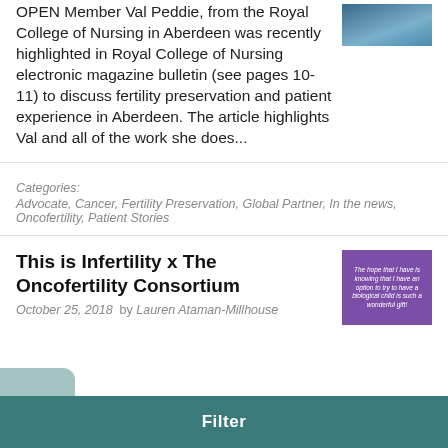OPEN Member Val Peddie, from the Royal College of Nursing in Aberdeen was recently highlighted in Royal College of Nursing electronic magazine bulletin (see pages 10-11) to discuss fertility preservation and patient experience in Aberdeen. The article highlights Val and all of the work she does...
Categories:
Advocate, Cancer, Fertility Preservation, Global Partner, In the news, Oncofertility, Patient Stories
This is Infertility x The Oncofertility Consortium
October 25, 2018  by Lauren Ataman-Millhouse
Filter